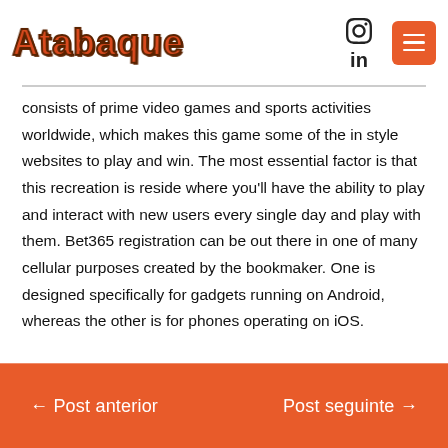Atabaque
consists of prime video games and sports activities worldwide, which makes this game some of the in style websites to play and win. The most essential factor is that this recreation is reside where you'll have the ability to play and interact with new users every single day and play with them. Bet365 registration can be out there in one of many cellular purposes created by the bookmaker. One is designed specifically for gadgets running on Android, whereas the other is for phones operating on iOS.
← Post anterior    Post seguinte →